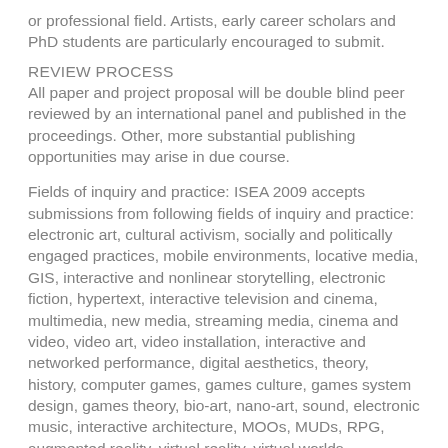or professional field. Artists, early career scholars and PhD students are particularly encouraged to submit.
REVIEW PROCESS
All paper and project proposal will be double blind peer reviewed by an international panel and published in the proceedings. Other, more substantial publishing opportunities may arise in due course.
Fields of inquiry and practice: ISEA 2009 accepts submissions from following fields of inquiry and practice: electronic art, cultural activism, socially and politically engaged practices, mobile environments, locative media, GIS, interactive and nonlinear storytelling, electronic fiction, hypertext, interactive television and cinema, multimedia, new media, streaming media, cinema and video, video art, video installation, interactive and networked performance, digital aesthetics, theory, history, computer games, games culture, games system design, games theory, bio-art, nano-art, sound, electronic music, interactive architecture, MOOs, MUDs, RPG, augmented reality, virtual reality, virtual worlds,